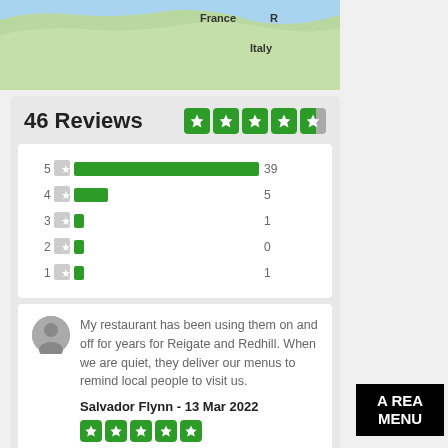[Figure (map): Map showing Europe including France and Italy labels]
46 Reviews
[Figure (bar-chart): Rating distribution]
My restaurant has been using them on and off for years for Reigate and Redhill. When we are quiet, they deliver our menus to remind local people to visit us.
Salvador Flynn - 13 Mar 2022
Great company as they have reliable people that get the job done right.